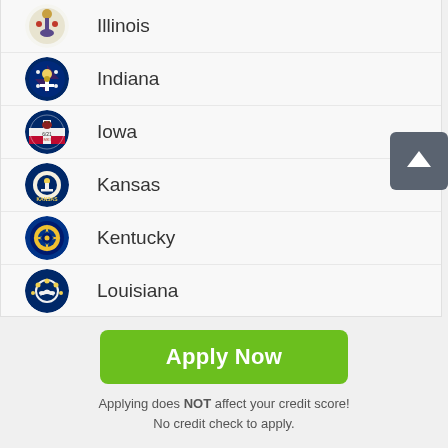Illinois
Indiana
Iowa
Kansas
Kentucky
Louisiana
Apply Now
Applying does NOT affect your credit score! No credit check to apply.